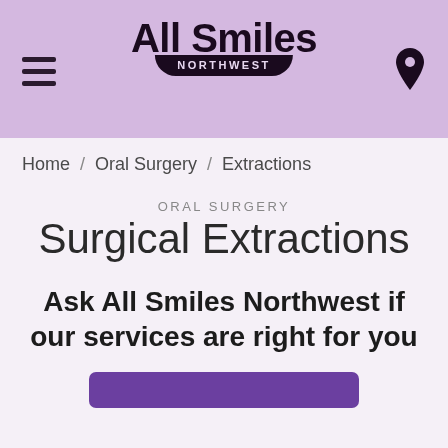All Smiles Northwest
Home / Oral Surgery / Extractions
ORAL SURGERY
Surgical Extractions
Ask All Smiles Northwest if our services are right for you